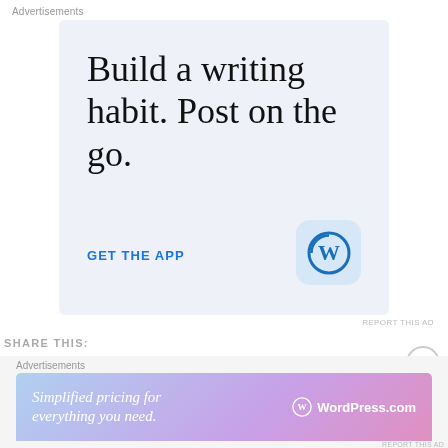Advertisements
[Figure (illustration): WordPress app advertisement with light blue background. Large serif text reads 'Build a writing habit. Post on the go.' with a blue 'GET THE APP' call-to-action link and the WordPress app icon (W logo in a rounded square).]
REPORT THIS AD
SHARE THIS:
Twitter
Facebook
Advertisements
[Figure (illustration): WordPress.com banner advertisement with gradient purple-pink background. Text reads 'Simplified pricing for everything you need.' with WordPress.com logo on the right.]